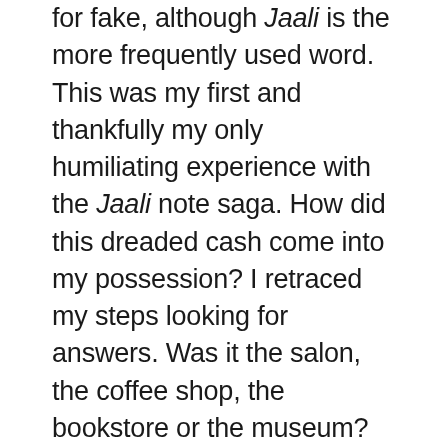for fake, although Jaali is the more frequently used word. This was my first and thankfully my only humiliating experience with the Jaali note saga. How did this dreaded cash come into my possession? I retraced my steps looking for answers. Was it the salon, the coffee shop, the bookstore or the museum? Which of these monetary exchanges had resulted in the offensive Jaali in my wallet? I could not recall the exact denomination of the notes I had handed in or the change that I had received.  Or was the deed done the day before?  It was a minefield trying to pinpoint a culprit. I carefully removed the ostracised note from the remaining notes, praying that the